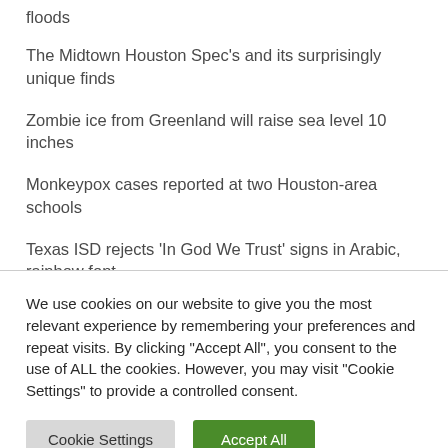floods
The Midtown Houston Spec's and its surprisingly unique finds
Zombie ice from Greenland will raise sea level 10 inches
Monkeypox cases reported at two Houston-area schools
Texas ISD rejects ‘In God We Trust’ signs in Arabic, rainbow font
We use cookies on our website to give you the most relevant experience by remembering your preferences and repeat visits. By clicking "Accept All", you consent to the use of ALL the cookies. However, you may visit "Cookie Settings" to provide a controlled consent.
Cookie Settings
Accept All